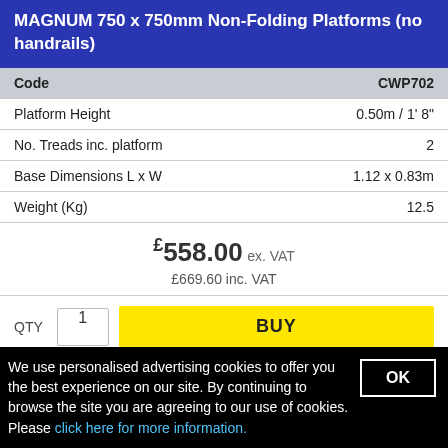MAGNUM 750 x 750mm Non-Folding Platforms (no handrails)
| Code | CWP702 |
| --- | --- |
| Platform Height | 0.50m / 1' 8" |
| No. Treads inc. platform | 2 |
| Base Dimensions L x W | 1.12 x 0.83m |
| Weight (Kg) | 12.5 |
£558.00 ex. VAT £669.60 inc. VAT
QTY 1 BUY
| Code | CWP703 |
| --- | --- |
We use personalised advertising cookies to offer you the best experience on our site. By continuing to browse the site you are agreeing to our use of cookies. Please click here for more information.